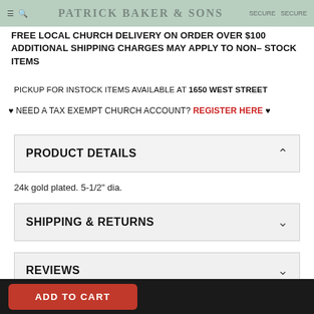PATRICK BAKER & SONS
FREE LOCAL CHURCH DELIVERY ON ORDER OVER $100 ADDITIONAL SHIPPING CHARGES MAY APPLY TO NON– STOCK ITEMS
PICKUP FOR INSTOCK ITEMS AVAILABLE AT 1650 WEST STREET
♥ NEED A TAX EXEMPT CHURCH ACCOUNT? REGISTER HERE ♥
PRODUCT DETAILS
24k gold plated. 5-1/2″ dia.
SHIPPING & RETURNS
REVIEWS
ADD TO CART